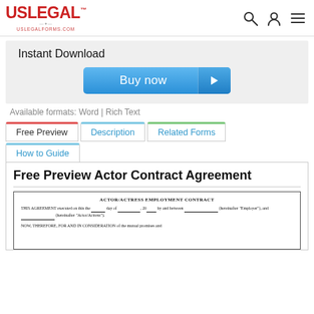[Figure (logo): USLegal logo with eagle and uslegalforms.com URL]
Instant Download
[Figure (other): Buy now button with arrow]
Available formats: Word | Rich Text
Free Preview
Description
Related Forms
How to Guide
Free Preview Actor Contract Agreement
[Figure (screenshot): Preview of Actor/Actress Employment Contract document showing title, agreement text with blanks for day, date, employer name, actor/actress name, and beginning of consideration clause]